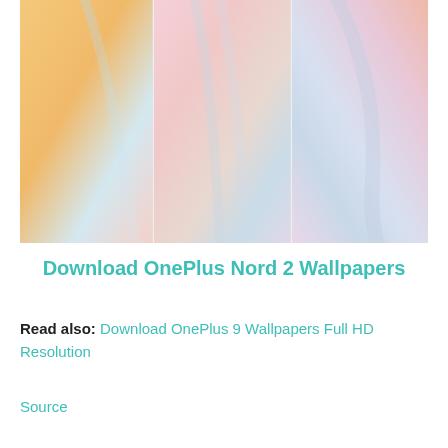[Figure (photo): Three side-by-side pastel holographic wallpaper images showing soft iridescent fabric-like swirls in colors of peach/yellow, pink, and lavender/blue]
Download OnePlus Nord 2 Wallpapers
Read also: Download OnePlus 9 Wallpapers Full HD Resolution
Source